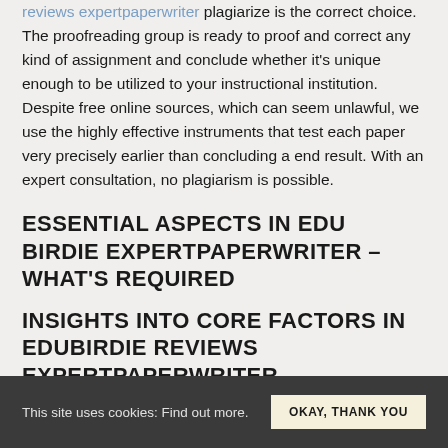reviews expertpaperwriter plagiarize is the correct choice. The proofreading group is ready to proof and correct any kind of assignment and conclude whether it's unique enough to be utilized to your instructional institution. Despite free online sources, which can seem unlawful, we use the highly effective instruments that test each paper very precisely earlier than concluding a end result. With an expert consultation, no plagiarism is possible.
ESSENTIAL ASPECTS IN EDU BIRDIE EXPERTPAPERWRITER – WHAT'S REQUIRED
INSIGHTS INTO CORE FACTORS IN EDUBIRDIE REVIEWS EXPERTPAPERWRITER
This site uses cookies: Find out more. OKAY, THANK YOU